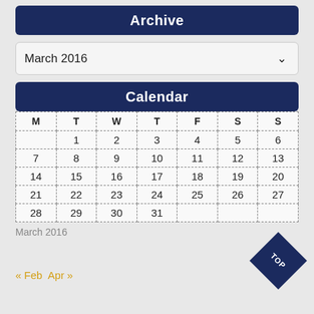Archive
March 2016
Calendar
| M | T | W | T | F | S | S |
| --- | --- | --- | --- | --- | --- | --- |
|  | 1 | 2 | 3 | 4 | 5 | 6 |
| 7 | 8 | 9 | 10 | 11 | 12 | 13 |
| 14 | 15 | 16 | 17 | 18 | 19 | 20 |
| 21 | 22 | 23 | 24 | 25 | 26 | 27 |
| 28 | 29 | 30 | 31 |  |  |  |
March 2016
« Feb  Apr »